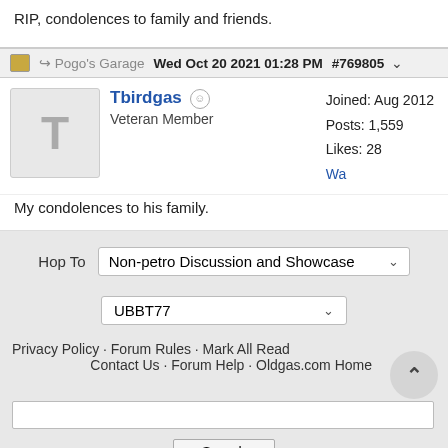RIP, condolences to family and friends.
Pogo's Garage  Wed Oct 20 2021 01:28 PM  #769805
Tbirdgas
Veteran Member
Joined: Aug 2012
Posts: 1,559
Likes: 28
Wa
My condolences to his family.
Hop To  Non-petro Discussion and Showcase
UBBT77
Privacy Policy · Forum Rules · Mark All Read
Contact Us · Forum Help · Oldgas.com Home
Search